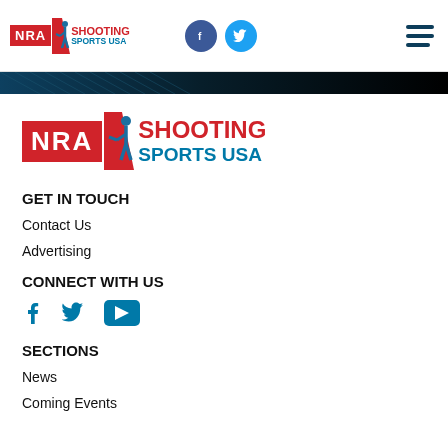NRA Shooting Sports USA — header with Facebook and Twitter icons and hamburger menu
[Figure (logo): NRA Shooting Sports USA logo (large)]
GET IN TOUCH
Contact Us
Advertising
CONNECT WITH US
[Figure (infographic): Facebook, Twitter, and YouTube social media icons]
SECTIONS
News
Coming Events